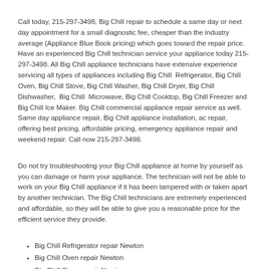Call today, 215-297-3498, Big Chill repair to schedule a same day or next day appointment for a small diagnostic fee, cheaper than the industry average (Appliance Blue Book pricing) which goes toward the repair price. Have an experienced Big Chill technician service your appliance today 215-297-3498. All Big Chill appliance technicians have extensive experience servicing all types of appliances including Big Chill  Refrigerator, Big Chill Oven, Big Chill Stove, Big Chill Washer, Big Chill Dryer, Big Chill Dishwasher,  Big Chill  Microwave, Big Chill Cooktop, Big Chill Freezer and Big Chill Ice Maker. Big Chill commercial appliance repair service as well. Same day appliance repair, Big Chill appliance installation, ac repair, offering best pricing, affordable pricing, emergency appliance repair and weekend repair. Call now 215-297-3498.
Do not try troubleshooting your Big Chill appliance at home by yourself as you can damage or harm your appliance. The technician will not be able to work on your Big Chill appliance if it has been tampered with or taken apart by another technician. The Big Chill technicians are extremely experienced and affordable, so they will be able to give you a reasonable price for the efficient service they provide.
Big Chill Refrigerator repair Newton
Big Chill Oven repair Newton
Big Chill Stove repair Newton
Big Chill Washer repair Newton
Big Chill Dryer repair Newton